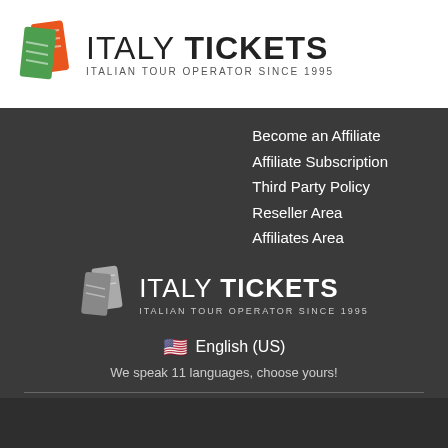[Figure (logo): Italy Tickets logo with orange ticket icon, text ITALY TICKETS, subtitle ITALIAN TOUR OPERATOR SINCE 1995]
Become an Affiliate
Affiliate Subscription
Third Party Policy
Reseller Area
Affiliates Area
[Figure (logo): Italy Tickets logo (white version) with grey ticket icon, text ITALY TICKETS, subtitle ITALIAN TOUR OPERATOR SINCE 1995]
🇺🇸 English (US)
We speak 11 languages, choose yours!
Cookies help us deliver our services. By using our services, you agree to our use of cookies.
HOW WE USE COOKIES
I AGREE